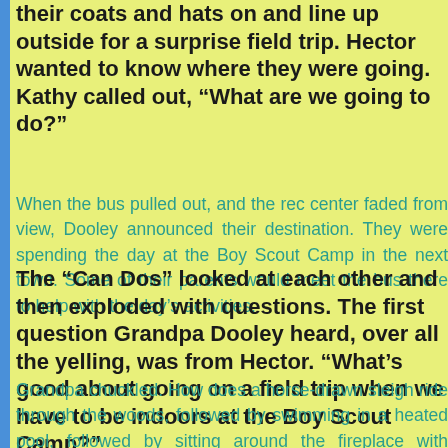their coats and hats on and line up outside for a surprise field trip. Hector wanted to know where they were going. Kathy called out, "What are we going to do?"
When the bus pulled out, and the rec center faded from view, Dooley announced their destination. They were spending the day at the Boy Scout Camp in the next town. Some of their parents would meet the bus there to help with the day's activities.
The “Can Dos” looked at each other and then exploded with questions. The first question Grandpa Dooley heard, over all the yelling, was from Hector. “What’s good about going on a field trip when we have to be indoors at the Boy Scout Camp?”
Grandpa chuckled. How does a horse-drawn sleigh ride through the woods, followed by swimming in a heated pool, followed by sitting around the fireplace with storytelling sound to you?